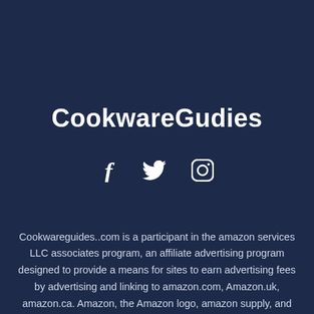CookwareGudies
[Figure (other): Social media icons: Facebook (f), Twitter (bird), Instagram (camera)]
Cookwareguides..com is a participant in the amazon services LLC associates program, an affiliate advertising program designed to provide a means for sites to earn advertising fees by advertising and linking to amazon.com, Amazon.uk, amazon.ca. Amazon, the Amazon logo, amazon supply, and the amazon supply logo are trademarks of amazon.com, inc. or its affiliates. as an amazon associate, we earn affiliate commissions from qualifying purchases